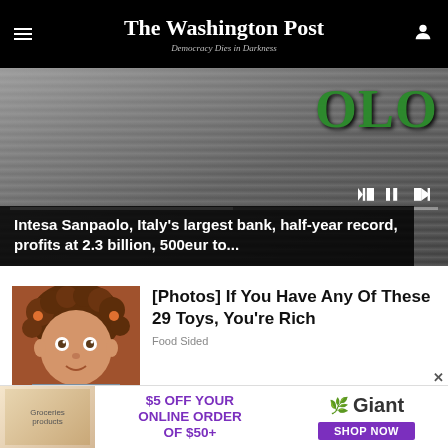The Washington Post
Democracy Dies in Darkness
[Figure (screenshot): Video thumbnail showing a bank sign with green letters, video player controls and progress bar visible. Semi-transparent black overlay with caption text.]
Intesa Sanpaolo, Italy’s largest bank, half-year record, profits at 2.3 billion, 500eur to...
[Figure (photo): Photo of a Cabbage Patch Kid doll with brown curly hair]
[Photos] If You Have Any Of These 29 Toys, You're Rich
Food Sided
[Figure (photo): Outdoor photo, trees visible]
Congress Finally Passes
[Figure (infographic): Advertisement banner: $5 OFF YOUR ONLINE ORDER OF $50+ Giant SHOP NOW]